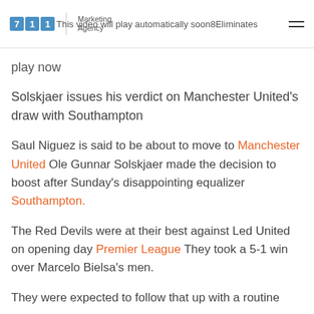711 Marketing Agency | This video will play automatically soon8Eliminates
play now
Solskjaer issues his verdict on Manchester United's draw with Southampton
Saul Niguez is said to be about to move to Manchester United Ole Gunnar Solskjaer made the decision to boost after Sunday's disappointing equalizer Southampton.
The Red Devils were at their best against Led United on opening day Premier League They took a 5-1 win over Marcelo Bielsa's men.
They were expected to follow that up with a routine